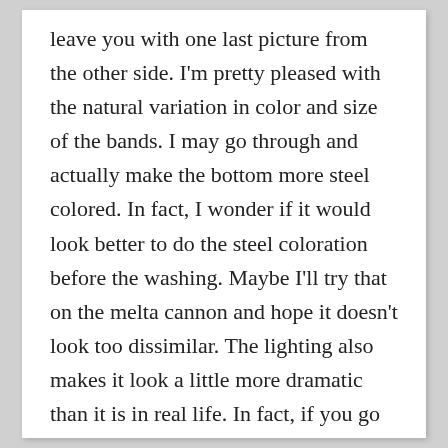leave you with one last picture from the other side. I'm pretty pleased with the natural variation in color and size of the bands. I may go through and actually make the bottom more steel colored. In fact, I wonder if it would look better to do the steel coloration before the washing. Maybe I'll try that on the melta cannon and hope it doesn't look too dissimilar. The lighting also makes it look a little more dramatic than it is in real life. In fact, if you go up and look at the picture with the paints, you can see it in different lighting and it looks more like it would on the tabletop. It's noticeable, but not at all over the top